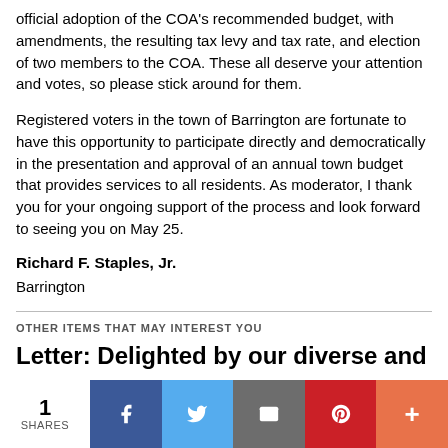official adoption of the COA's recommended budget, with amendments, the resulting tax levy and tax rate, and election of two members to the COA. These all deserve your attention and votes, so please stick around for them.
Registered voters in the town of Barrington are fortunate to have this opportunity to participate directly and democratically in the presentation and approval of an annual town budget that provides services to all residents. As moderator, I thank you for your ongoing support of the process and look forward to seeing you on May 25.
Richard F. Staples, Jr.
Barrington
OTHER ITEMS THAT MAY INTEREST YOU
Letter: Delighted by our diverse and